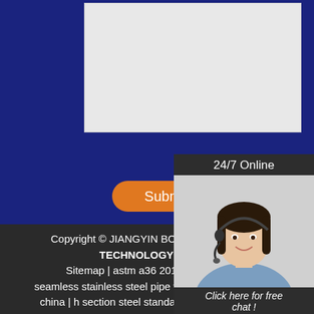[Figure (screenshot): Text area input box on blue background]
[Figure (photo): Customer service agent with headset, 24/7 Online label, Click here for free chat, QUOTATION button]
Submit Now
Copyright © JIANGYIN BOSJ SCIENCE AND TECHNOLOGY CO LTD
Sitemap | astm a36 201 309 hollow bar seamless stainless steel pipe tube constructionmade china | h section steel standard steel building steel warehouse | customized aluminum shutter door roll forming machine